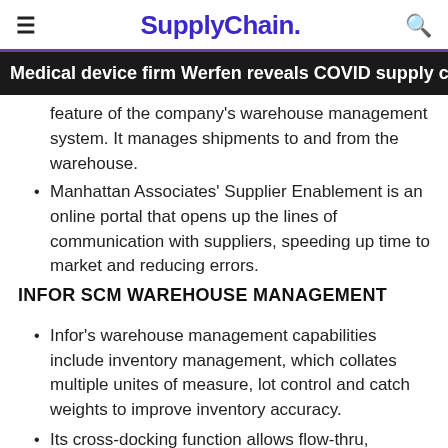SupplyChain.
Medical device firm Werfen reveals COVID supply challeng
feature of the company's warehouse management system. It manages shipments to and from the warehouse.
Manhattan Associates' Supplier Enablement is an online portal that opens up the lines of communication with suppliers, speeding up time to market and reducing errors.
INFOR SCM WAREHOUSE MANAGEMENT
Infor's warehouse management capabilities include inventory management, which collates multiple unites of measure, lot control and catch weights to improve inventory accuracy.
Its cross-docking function allows flow-thru, transhipment and opportunistic process capabilities.
Infor also has a range of value added services that